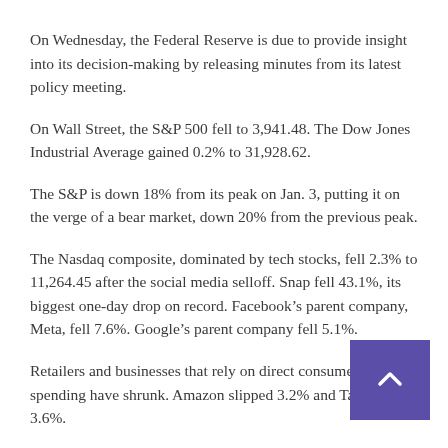On Wednesday, the Federal Reserve is due to provide insight into its decision-making by releasing minutes from its latest policy meeting.
On Wall Street, the S&P 500 fell to 3,941.48. The Dow Jones Industrial Average gained 0.2% to 31,928.62.
The S&P is down 18% from its peak on Jan. 3, putting it on the verge of a bear market, down 20% from the previous peak.
The Nasdaq composite, dominated by tech stocks, fell 2.3% to 11,264.45 after the social media selloff. Snap fell 43.1%, its biggest one-day drop on record. Facebook’s parent company, Meta, fell 7.6%. Google’s parent company fell 5.1%.
Retailers and businesses that rely on direct consumer spending have shrunk. Amazon slipped 3.2% and Target fell 3.6%.